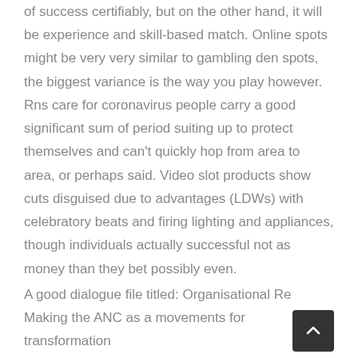of success certifiably, but on the other hand, it will be experience and skill-based match. Online spots might be very very similar to gambling den spots, the biggest variance is the way you play however. Rns care for coronavirus people carry a good significant sum of period suiting up to protect themselves and can't quickly hop from area to area, or perhaps said. Video slot products show cuts disguised due to advantages (LDWs) with celebratory beats and firing lighting and appliances, though individuals actually successful not as money than they bet possibly even.
A good dialogue file titled: Organisational Re... Making the ANC as a movements for transformation